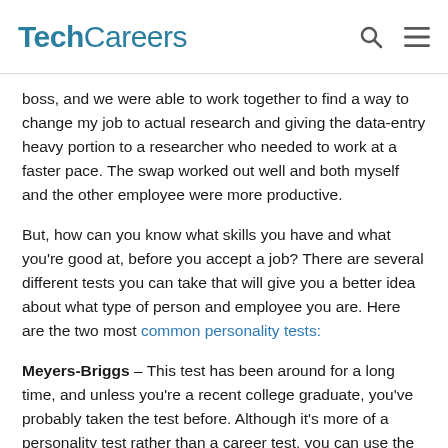TechCareers
boss, and we were able to work together to find a way to change my job to actual research and giving the data-entry heavy portion to a researcher who needed to work at a faster pace. The swap worked out well and both myself and the other employee were more productive.
But, how can you know what skills you have and what you're good at, before you accept a job? There are several different tests you can take that will give you a better idea about what type of person and employee you are. Here are the two most common personality tests:
Meyers-Briggs – This test has been around for a long time, and unless you're a recent college graduate, you've probably taken the test before. Although it's more of a personality test rather than a career test, you can use the information to help you find the right type of job. There are hundreds of places online that offer the test for free and provide in depth analysis of your test results. According to